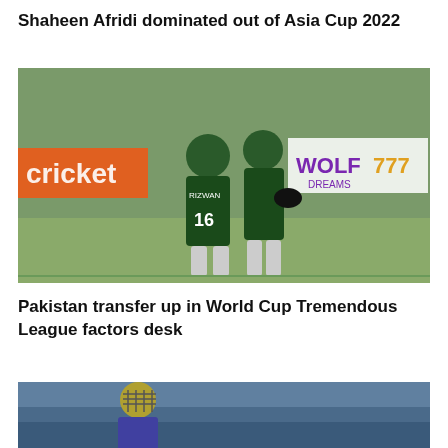Shaheen Afridi dominated out of Asia Cup 2022
[Figure (photo): Two Pakistan cricket players in green uniforms embracing on the field. One player (Rizwan, number 16) has his back to camera. A sponsor banner reading 'cricket' in orange is visible on the left, and 'WOLF777' logo on the right.]
Pakistan transfer up in World Cup Tremendous League factors desk
[Figure (photo): A cricket batter in blue/purple uniform with gold helmet, shown from the waist up, in batting stance. Blurred background of a cricket ground.]